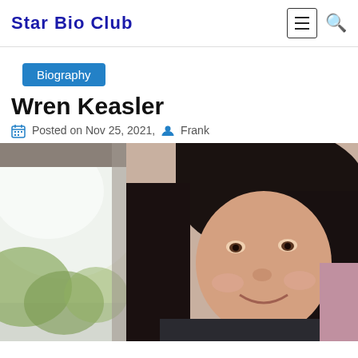Star Bio Club
Biography
Wren Keasler
Posted on Nov 25, 2021, Frank
[Figure (photo): Close-up selfie of a young woman with long dark hair smiling, taken inside a car with a window and foliage visible in the background]